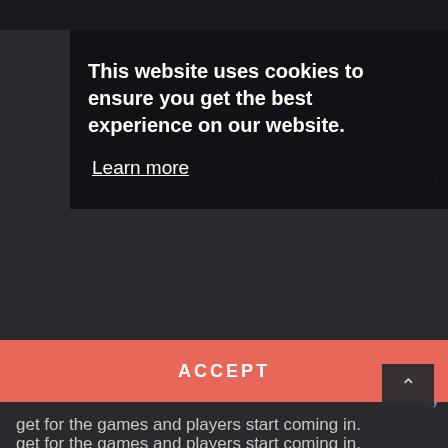This website uses cookies to ensure you get the best experience on our website.
Learn more
ACCEPT
get for the games and players start coming in.
I have my massage license as well. I also do myofascial stretching routines with the guys that need it for activation or whatever they may need for soft tissue work. With a few guys that come to see me prior to the game, we do some dynamic warmups, do some activation stuff with certain players and the guys go and play.